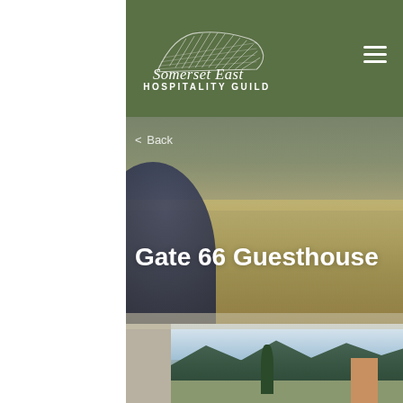[Figure (logo): Somerset East Hospitality Guild logo — white hand-drawn sketch of hills/mountains with cursive 'Somerset East' text and 'HOSPITALITY GUILD' in spaced capitals, on green background with hamburger menu icon]
< Back
Gate 66 Guesthouse
[Figure (photo): Partial exterior photo showing a guesthouse building with brick chimney/tower, cypress trees, green mountains in background, and cloudy sky — landscape setting]